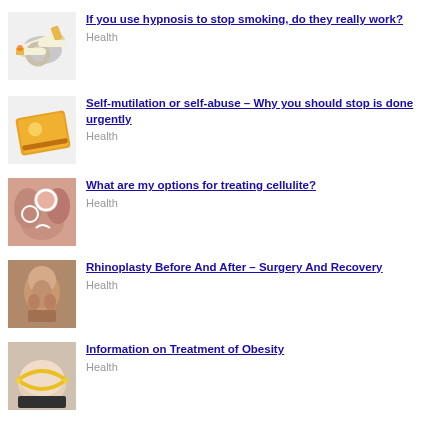If you use hypnosis to stop smoking, do they really work?
Health
Self-mutilation or self-abuse – Why you should stop is done urgently
Health
What are my options for treating cellulite?
Health
Rhinoplasty Before And After – Surgery And Recovery
Health
Information on Treatment of Obesity
Health